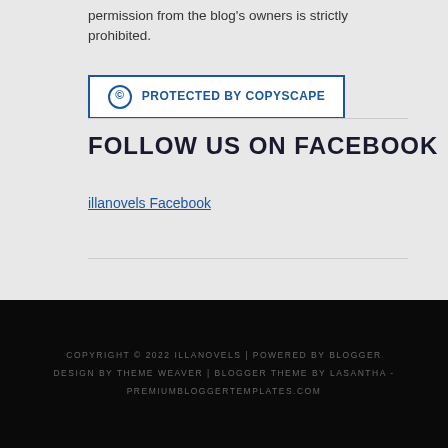permission from the blog's owners is strictly prohibited.
[Figure (other): Copyscape protected badge button with copyright symbol and blue border]
FOLLOW US ON FACEBOOK
illanovels Facebook
COPYRIGHT © 2022 ILLANOVELS | POWERED BY BLOGGER DESIGN BY THEME WEAVER | BLOGGER THEME BY LASANTHA - PREMIUMBLOGGERTEMPLATES.COM